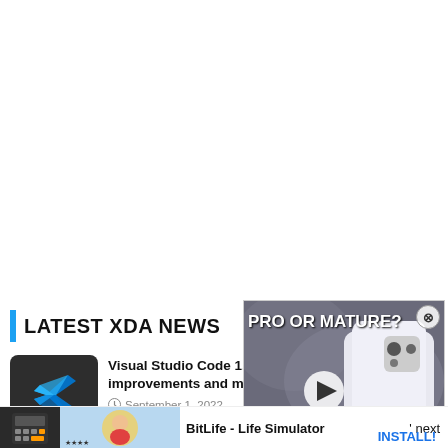LATEST XDA NEWS
Visual Studio Code 1.71 improvements and more
September 1, 2022
[Figure (screenshot): Video thumbnail showing a white smartphone on a surface with text PRO OR MATURE? and a play button overlay, with a close (X) button in the top-right corner]
Ad  BitLife - Life Simulator
next
INSTALL!